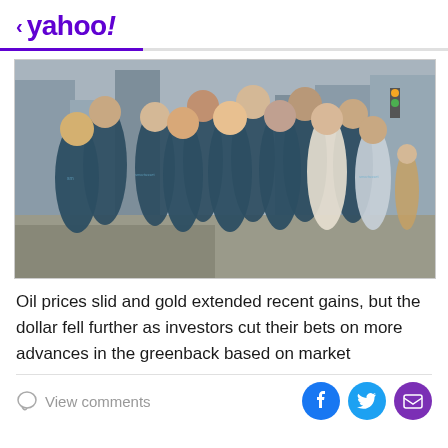< yahoo!
[Figure (photo): Group photo of approximately 13 people wearing matching dark teal/navy SmartAsset branded t-shirts, standing together on a city street in New York. Buildings and traffic lights visible in background.]
Oil prices slid and gold extended recent gains, but the dollar fell further as investors cut their bets on more advances in the greenback based on market
View comments